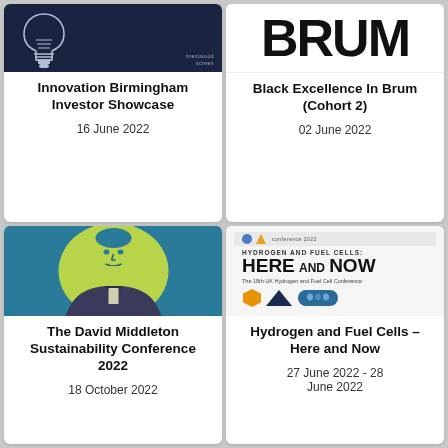[Figure (other): Innovation Birmingham event card with dark navy background and light bulb icon, Brentwood logo text]
Innovation Birmingham Investor Showcase
16 June 2022
[Figure (other): Black Excellence In Brum event card with large bold BRUM text on white background]
Black Excellence In Brum (Cohort 2)
02 June 2022
[Figure (illustration): The David Middleton Sustainability Conference card with stylized portrait illustration in teal and yellow-green]
The David Middleton Sustainability Conference 2022
18 October 2022
[Figure (other): Hydrogen and Fuel Cells Here and Now conference card with hexagonal graphics and people imagery]
Hydrogen and Fuel Cells – Here and Now
27 June 2022 - 28 June 2022